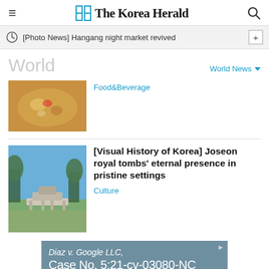The Korea Herald
[Photo News] Hangang night market revived
World
World News
[Figure (photo): Food dish photo - close-up of a soup/stew with vegetables]
Food&Beverage
[Figure (photo): Joseon royal tombs set in green landscape with blue sky]
[Visual History of Korea] Joseon royal tombs' eternal presence in pristine settings
Culture
[Figure (screenshot): Advertisement banner: Diaz v. Google LLC, Case No. 5:21-cv-03080-NC]
[Figure (screenshot): Advertisement: HC logo - View store hours, get directions, or call your salon!]